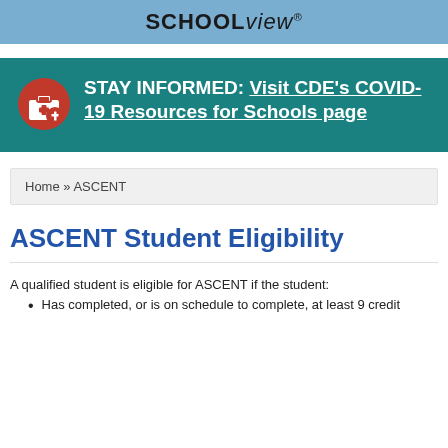SCHOOLview®
[Figure (infographic): Teal banner with red medical kit icon and white bold text: STAY INFORMED: Visit CDE's COVID-19 Resources for Schools page]
Home » ASCENT
ASCENT Student Eligibility
A qualified student is eligible for ASCENT if the student:
Has completed, or is on schedule to complete, at least 9 credit